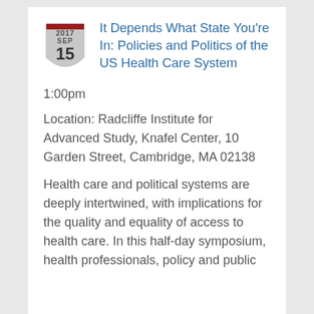It Depends What State You're In: Policies and Politics of the US Health Care System
1:00pm
Location: Radcliffe Institute for Advanced Study, Knafel Center, 10 Garden Street, Cambridge, MA 02138
Health care and political systems are deeply intertwined, with implications for the quality and equality of access to health care. In this half-day symposium, health professionals, policy and public